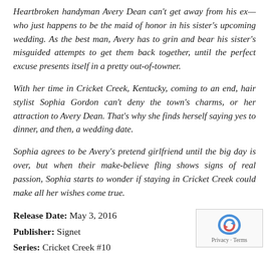Heartbroken handyman Avery Dean can't get away from his ex—who just happens to be the maid of honor in his sister's upcoming wedding. As the best man, Avery has to grin and bear his sister's misguided attempts to get them back together, until the perfect excuse presents itself in a pretty out-of-towner.
With her time in Cricket Creek, Kentucky, coming to an end, hair stylist Sophia Gordon can't deny the town's charms, or her attraction to Avery Dean. That's why she finds herself saying yes to dinner, and then, a wedding date.
Sophia agrees to be Avery's pretend girlfriend until the big day is over, but when their make-believe fling shows signs of real passion, Sophia starts to wonder if staying in Cricket Creek could make all her wishes come true.
Release Date: May 3, 2016
Publisher: Signet
Series: Cricket Creek #10